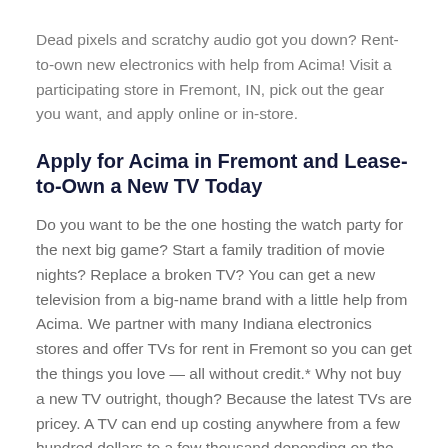Dead pixels and scratchy audio got you down? Rent-to-own new electronics with help from Acima! Visit a participating store in Fremont, IN, pick out the gear you want, and apply online or in-store.
Apply for Acima in Fremont and Lease-to-Own a New TV Today
Do you want to be the one hosting the watch party for the next big game? Start a family tradition of movie nights? Replace a broken TV? You can get a new television from a big-name brand with a little help from Acima. We partner with many Indiana electronics stores and offer TVs for rent in Fremont so you can get the things you love — all without credit.* Why not buy a new TV outright, though? Because the latest TVs are pricey. A TV can end up costing anywhere from a few hundred dollars to a few thousand depending on the technology and screen size! When you choose to rent a TV in